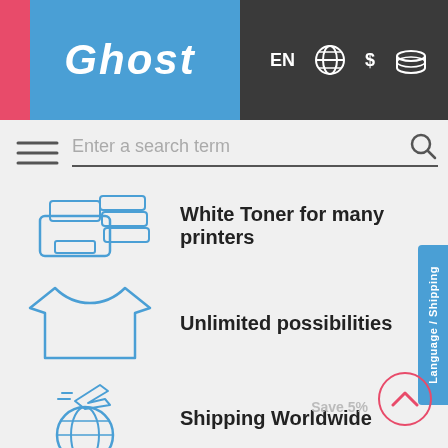[Figure (screenshot): Ghost e-commerce website header with blue logo block, pink accent stripe, 'Ghost' italic text, and dark nav bar with EN globe, dollar/coins, person, and bag icons]
[Figure (screenshot): Search bar with placeholder 'Enter a search term' and magnifier icon, hamburger menu icon at left]
White Toner for many printers
Unlimited possibilities
Shipping Worldwide
[Figure (illustration): Language/Shipping blue sidebar tab on right edge]
Save 5%